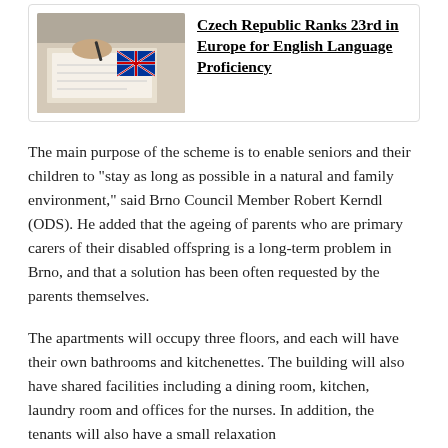[Figure (photo): Photo of a person writing on paper with books including one with a UK flag visible, partially shown at top of card]
Czech Republic Ranks 23rd in Europe for English Language Proficiency
The main purpose of the scheme is to enable seniors and their children to “stay as long as possible in a natural and family environment,” said Brno Council Member Robert Kerndl (ODS). He added that the ageing of parents who are primary carers of their disabled offspring is a long-term problem in Brno, and that a solution has been often requested by the parents themselves.
The apartments will occupy three floors, and each will have their own bathrooms and kitchenettes. The building will also have shared facilities including a dining room, kitchen, laundry room and offices for the nurses. In addition, the tenants will also have a small relaxation